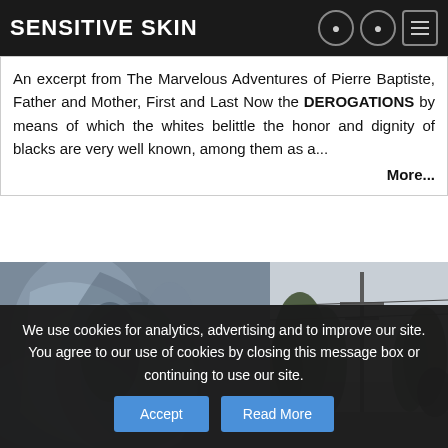Sensitive Skin
On the Gutless (They-Guts) Patricia Eakins
An excerpt from The Marvelous Adventures of Pierre Baptiste, Father and Mother, First and Last Now the DEROGATIONS by means of which the whites belittle the honor and dignity of blacks are very well known, among them as a...
More...
[Figure (photo): Two black-and-white photos side by side: left shows a close-up of a metallic sculptural figure; right shows trees and utility poles against a grey sky.]
We use cookies for analytics, advertising and to improve our site. You agree to our use of cookies by closing this message box or continuing to use our site.